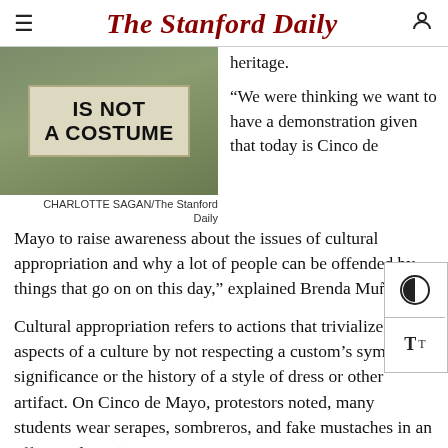The Stanford Daily
[Figure (photo): A hand-written sign reading 'IS NOT A COSTUME' held up outdoors with greenery in background]
CHARLOTTE SAGAN/The Stanford Daily
heritage.
“We were thinking we want to have a demonstration given that today is Cinco de Mayo to raise awareness about the issues of cultural appropriation and why a lot of people can be offended by things that go on on this day,” explained Brenda Muñoz’14.
Cultural appropriation refers to actions that trivialize aspects of a culture by not respecting a custom’s symbolic significance or the history of a style of dress or other artifact. On Cinco de Mayo, protestors noted, many students wear serapes, sombreros, and fake mustaches in an effort to dress “Mexican.”